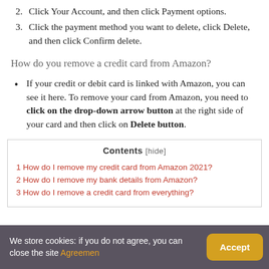2. Click Your Account, and then click Payment options.
3. Click the payment method you want to delete, click Delete, and then click Confirm delete.
How do you remove a credit card from Amazon?
If your credit or debit card is linked with Amazon, you can see it here. To remove your card from Amazon, you need to click on the drop-down arrow button at the right side of your card and then click on Delete button.
| Contents [hide] |
| --- |
| 1 How do I remove my credit card from Amazon 2021? |
| 2 How do I remove my bank details from Amazon? |
| 3 How do I remove a credit card from everything? |
We store cookies: if you do not agree, you can close the site Agreemen